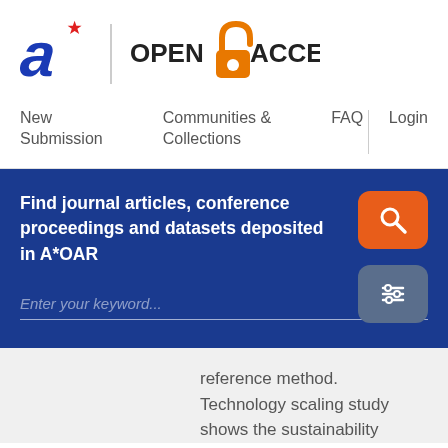[Figure (logo): A*STAR agency logo - stylized blue letter 'a' with red star, and Open Access logo with orange unlocked padlock symbol and text OPEN ACCESS]
New Submission
Communities & Collections
FAQ
Login
Find journal articles, conference proceedings and datasets deposited in A*OAR
Enter your keyword...
reference method. Technology scaling study shows the sustainability